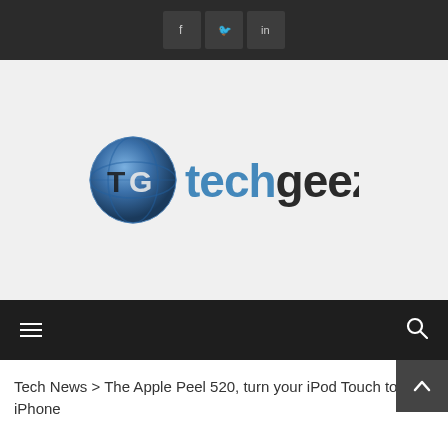Social icons: Facebook, Twitter, LinkedIn
[Figure (logo): TechGeeze logo — globe icon with TG letters followed by 'techgeeze' text in blue/dark styling]
Navigation bar with hamburger menu and search icon
Tech News > The Apple Peel 520, turn your iPod Touch to an iPhone